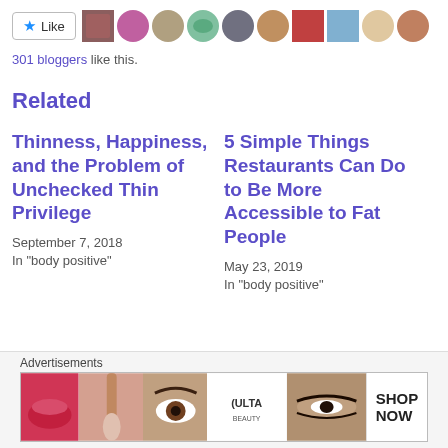[Figure (other): Like button with star icon and a row of circular/square blogger avatar thumbnails]
301 bloggers like this.
Related
Thinness, Happiness, and the Problem of Unchecked Thin Privilege
September 7, 2018
In "body positive"
5 Simple Things Restaurants Can Do to Be More Accessible to Fat People
May 23, 2019
In "body positive"
A Guide to Parenting
Advertisements
[Figure (photo): Ulta Beauty advertisement banner with makeup product and face images and SHOP NOW button]